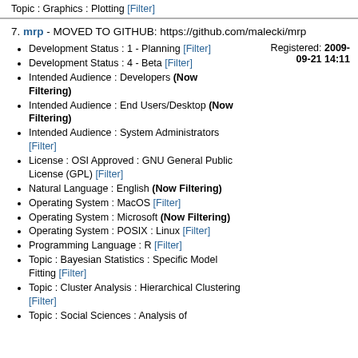Topic : Graphics : Plotting [Filter]
7. mrp - MOVED TO GITHUB: https://github.com/malecki/mrp
Development Status : 1 - Planning [Filter]
Development Status : 4 - Beta [Filter]
Intended Audience : Developers (Now Filtering)
Intended Audience : End Users/Desktop (Now Filtering)
Intended Audience : System Administrators [Filter]
License : OSI Approved : GNU General Public License (GPL) [Filter]
Natural Language : English (Now Filtering)
Operating System : MacOS [Filter]
Operating System : Microsoft (Now Filtering)
Operating System : POSIX : Linux [Filter]
Programming Language : R [Filter]
Topic : Bayesian Statistics : Specific Model Fitting [Filter]
Topic : Cluster Analysis : Hierarchical Clustering [Filter]
Topic : Social Sciences : Analysis of
Registered: 2009-09-21 14:11